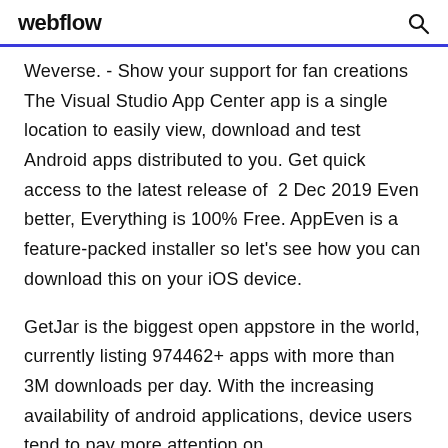webflow
Weverse. - Show your support for fan creations The Visual Studio App Center app is a single location to easily view, download and test Android apps distributed to you. Get quick access to the latest release of  2 Dec 2019 Even better, Everything is 100% Free. AppEven is a feature-packed installer so let's see how you can download this on your iOS device.
GetJar is the biggest open appstore in the world, currently listing 974462+ apps with more than 3M downloads per day. With the increasing availability of android applications, device users tend to pay more attention on